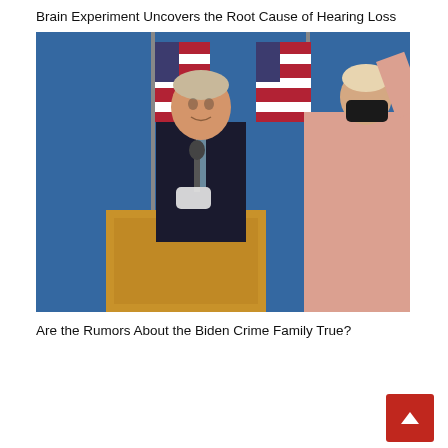Brain Experiment Uncovers the Root Cause of Hearing Loss
[Figure (photo): Photo of a man in a dark suit speaking at a podium with a microphone, holding a face mask, with American flags in the background. A woman in a pink coat and black mask stands to the right with her hand raised.]
Are the Rumors About the Biden Crime Family True?